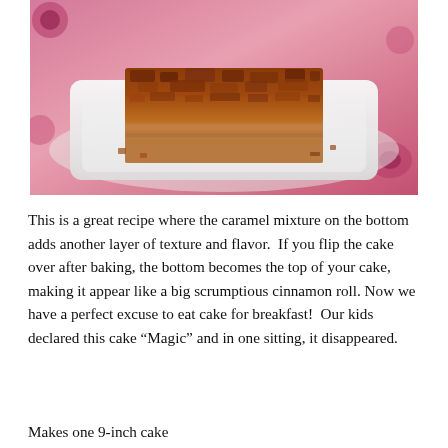[Figure (photo): A close-up photograph of a square piece of coffee cake with a crumbly caramel and nut topping on a white rectangular plate, with a floral tablecloth in the background.]
This is a great recipe where the caramel mixture on the bottom adds another layer of texture and flavor.  If you flip the cake over after baking, the bottom becomes the top of your cake, making it appear like a big scrumptious cinnamon roll. Now we have a perfect excuse to eat cake for breakfast!  Our kids declared this cake “Magic” and in one sitting, it disappeared.
Makes one 9-inch cake